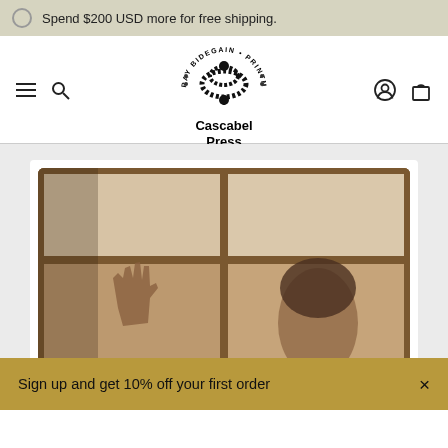Spend $200 USD more for free shipping.
[Figure (logo): Cascabel Press logo — a snake forming a circular shape with text 'RAY BIDEGAIN • PRINTMAKER' arched around it, and 'Cascabel Press' below]
[Figure (photo): Sepia-toned photograph of a person with raised hand pressed against a multi-pane window, looking through the glass]
Sign up and get 10% off your first order